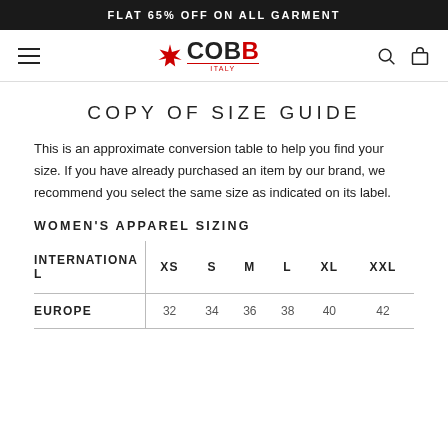FLAT 65% OFF ON ALL GARMENT
[Figure (logo): COBB Italy brand logo with Canadian maple leaf icon and red underline]
COPY OF SIZE GUIDE
This is an approximate conversion table to help you find your size. If you have already purchased an item by our brand, we recommend you select the same size as indicated on its label.
WOMEN'S APPAREL SIZING
| INTERNATIONAL | XS | S | M | L | XL | XXL |
| --- | --- | --- | --- | --- | --- | --- |
| EUROPE | 32 | 34 | 36 | 38 | 40 | 42 |